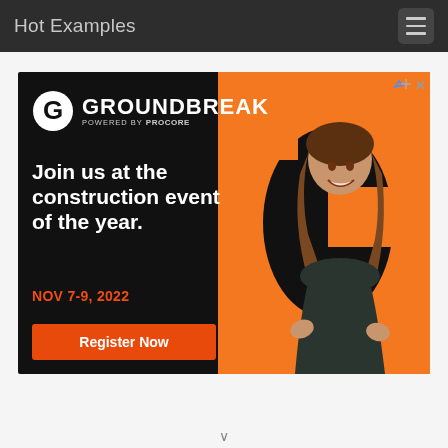Hot Examples
[Figure (screenshot): Groundbreak powered by Procore advertisement banner. Black background with orange G shape on right side. Shows a smiling woman. Text: GROUNDBREAK POWERED BY PROCORE, Join us at the construction event of the year. NOV 7-9, 2022. Register Now button in orange.]